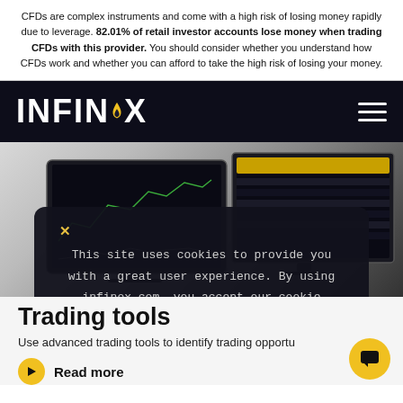CFDs are complex instruments and come with a high risk of losing money rapidly due to leverage. 82.01% of retail investor accounts lose money when trading CFDs with this provider. You should consider whether you understand how CFDs work and whether you can afford to take the high risk of losing your money.
[Figure (screenshot): INFINOX trading platform website screenshot showing logo, navigation bar, trading platform screens (laptop and desktop monitor with candlestick/line charts), a cookie consent overlay, and partial 'Trading tools' section with 'Read more' button.]